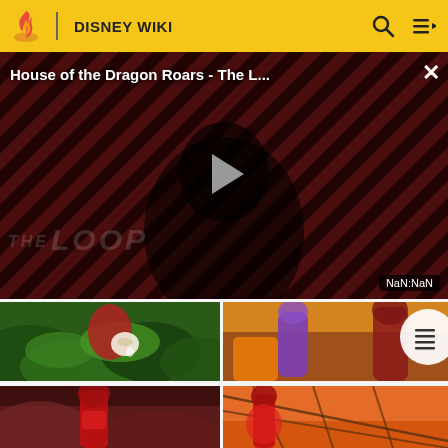DISNEY WIKI
[Figure (screenshot): Video player showing 'House of the Dragon Roars - The L...' with a dark cinematic thumbnail, play button in center, diagonal striped background pattern, 'THE LOOP' watermark text, and NaN:NaN timer display]
[Figure (screenshot): Animation thumbnail - character holding coconut with tropical leaves in background]
[Figure (screenshot): Animation thumbnail - characters in colorful scene with purple and orange clothing]
[Figure (screenshot): Animation thumbnail - character in red outfit in dark cave/rocky setting]
[Figure (screenshot): Animation thumbnail - character in red outfit with ropes/rigging in orange/red sunset scene]